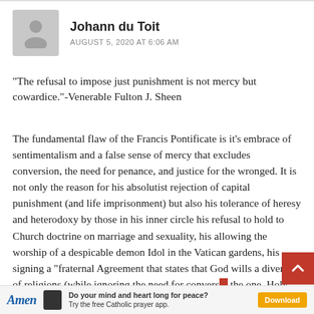Johann du Toit — AUGUST 5, 2020 AT 6:06 AM
“The refusal to impose just punishment is not mercy but cowardice.”-Venerable Fulton J. Sheen
The fundamental flaw of the Francis Pontificate is it’s embrace of sentimentalism and a false sense of mercy that excludes conversion, the need for penance, and justice for the wronged. It is not only the reason for his absolutist rejection of capital punishment (and life imprisonment) but also his tolerance of heresy and heterodoxy by those in his inner circle his refusal to hold to Church doctrine on marriage and sexuality, his allowing the worship of a despicable demon Idol in the Vatican gardens, his signing a “fraternal Agreement that states that God wills a diversity of religions (while ignoring the need for conversion to the one, Holy Catholic and Apostolic Church), and, dare
Amen — Do your mind and heart long for peace? Try the free Catholic prayer app. Download